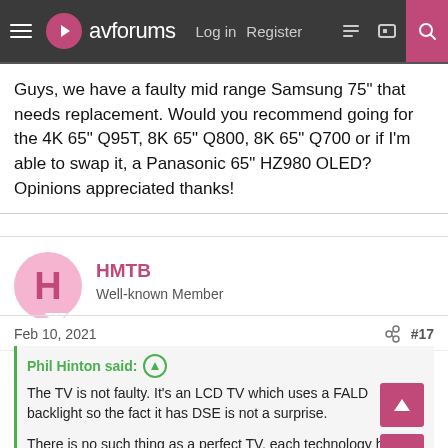avforums — Log in | Register
Guys, we have a faulty mid range Samsung 75" that needs replacement. Would you recommend going for the 4K 65" Q95T, 8K 65" Q800, 8K 65" Q700 or if I'm able to swap it, a Panasonic 65" HZ980 OLED? Opinions appreciated thanks!
HMTB
Well-known Member
Feb 10, 2021   #17
Phil Hinton said: ↑
The TV is not faulty. It's an LCD TV which uses a FALD backlight so the fact it has DSE is not a surprise.

There is no such thing as a perfect TV, each technology has pitfalls and issues that have to be taken into account. There are no TVs that I have reviewed which have an absence of issues related to the technology used.